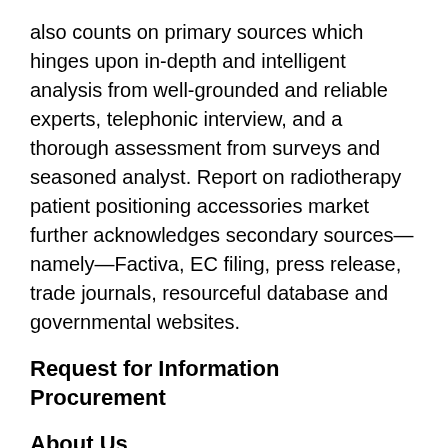also counts on primary sources which hinges upon in-depth and intelligent analysis from well-grounded and reliable experts, telephonic interview, and a thorough assessment from surveys and seasoned analyst. Report on radiotherapy patient positioning accessories market further acknowledges secondary sources—namely—Factiva, EC filing, press release, trade journals, resourceful database and governmental websites.
Request for Information Procurement
About Us
Market Research Reports Search Engine (MRRSE) is an industry-leading database of market